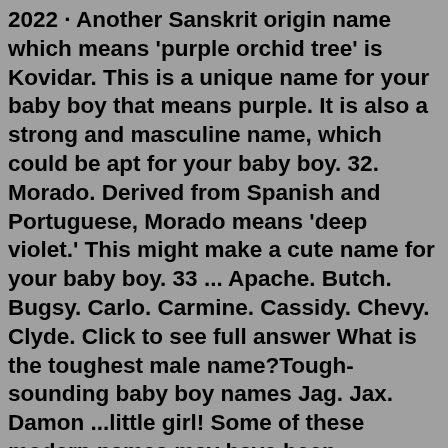2022 · Another Sanskrit origin name which means 'purple orchid tree' is Kovidar. This is a unique name for your baby boy that means purple. It is also a strong and masculine name, which could be apt for your baby boy. 32. Morado. Derived from Spanish and Portuguese, Morado means 'deep violet.' This might make a cute name for your baby boy. 33 ... Apache. Butch. Bugsy. Carlo. Carmine. Cassidy. Chevy. Clyde. Click to see full answer What is the toughest male name?Tough-sounding baby boy names Jag. Jax. Damon ...little girl! Some of these modern names may have been traditionally used for a boy, like Jude or Dexter, but when given to a girl, they sound even tougher. Check out these traditional girl names that make us think badass. 1. Beatrix. 2. Bernadette. 3. Blake.What are some unique Spanish names for a boy? Baby boy names popular in Spain and Latin America include Hugo, Pablo, Alvaro, Mario, Manuel, and Javier. Other intriguing and unique Spanish names for boys in style today include